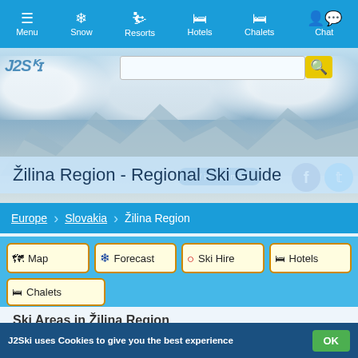Menu | Snow | Resorts | Hotels | Chalets | Chat
[Figure (screenshot): J2Ski logo and search bar with mountain hero image background]
Žilina Region - Regional Ski Guide
Europe > Slovakia > Žilina Region
Map | Forecast | Ski Hire | Hotels | Chalets
Ski Areas in Žilina Region
Žilina Region Ski Resorts
Žilina Region is a region of Slovakia offering skiing and snowboarding in 20 Slovak Ski Resorts, including Jasna.
J2Ski uses Cookies to give you the best experience  OK